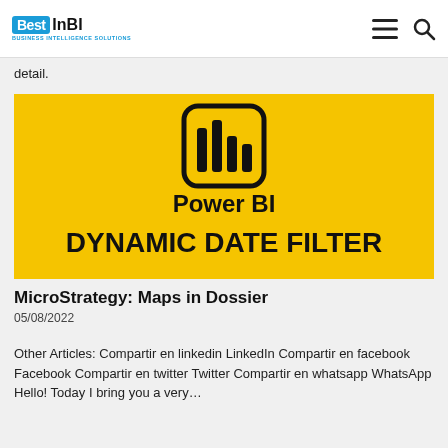[Figure (logo): BestInBI logo — blue 'Best' badge followed by bold 'InBI' text, with 'BUSINESS INTELLIGENCE SOLUTIONS' subtitle in blue]
detail.
[Figure (illustration): Yellow banner image with Power BI icon (bar chart in rounded square) and text 'Power BI DYNAMIC DATE FILTER' in black on yellow background]
MicroStrategy: Maps in Dossier
05/08/2022
Other Articles: Compartir en linkedin LinkedIn Compartir en facebook Facebook Compartir en twitter Twitter Compartir en whatsapp WhatsApp Hello! Today I bring you a very…